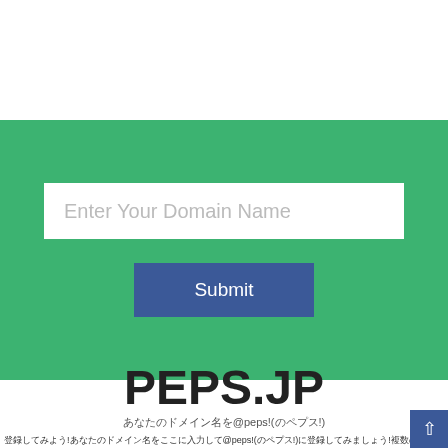[Figure (screenshot): Green form section with a white text input field labeled 'Enter Your Domain Name' and a blue 'Submit' button below it]
PEPS.JP
あなたのドメイン名を@peps!(のペプス!)
登録してみよう!あなたのドメイン名をここに入力して@peps!(のペプス!)に登録してみましょう!複数のドメインを登録する場合は、一つずつ登録してください。!